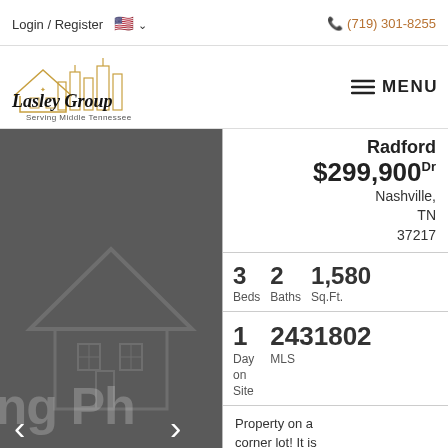Login / Register  🇺🇸 ∨    (719) 301-8255
[Figure (logo): Lasley Group logo with house/city skyline illustration and text 'Lasley Group Serving Middle Tennessee']
≡ MENU
[Figure (photo): Property photo showing a house, dark/greyed out background with 'ing Ph' visible text overlay and left/right navigation arrows]
Radford
$299,900 Dr
Nashville, TN 37217
3 Beds  2 Baths  1,580 Sq.Ft.
1 Day on Site  2431802 MLS
Property on a corner lot! It is